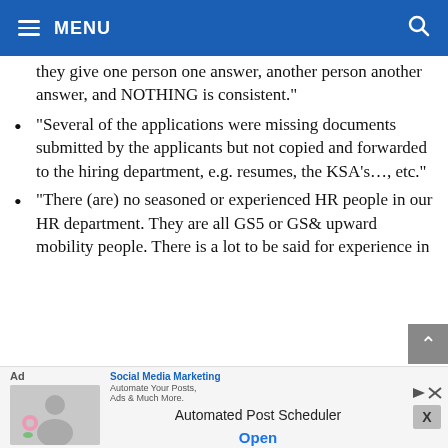MENU
they give one person one answer, another person another answer, and NOTHING is consistent."
"Several of the applications were missing documents submitted by the applicants but not copied and forwarded to the hiring department, e.g. resumes, the KSA’s…, etc."
"There (are) no seasoned or experienced HR people in our HR department. They are all GS5 or GS& upward mobility people. There is a lot to be said for experience in
[Figure (screenshot): Advertisement banner: 'Automated Post Scheduler' with 'Open' button and Social Media Marketing branding with image of person]